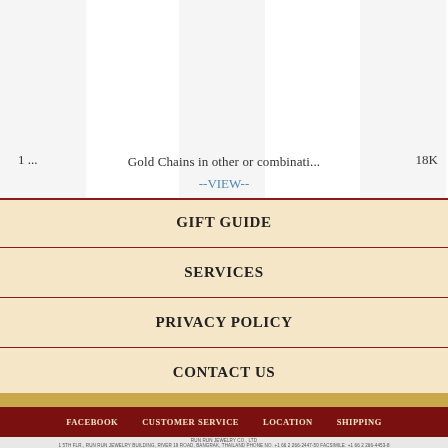1 ...   Gold Chains in other or combinati...   18K
--VIEW--
GIFT GUIDE
SERVICES
PRIVACY POLICY
CONTACT US
FACEBOOK   CUSTOMER SERVICE   LOCATION   SHIPPING
RUN RUN JEWELRY CO., LTD 1 5TH FLR., RUN RUN JEWELRY BUILDING, RIVER 19 ROAD, BANGRAK, THAILAND PHONE NO. +1 66 2 266-2447-50 FACSIMILE: +1 66 2 266-4453-8